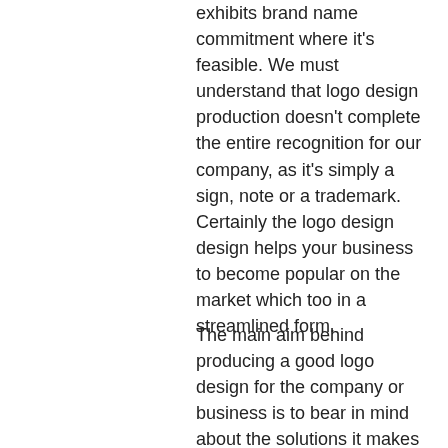exhibits brand name commitment where it's feasible. We must understand that logo design production doesn't complete the entire recognition for our company, as it's simply a sign, note or a trademark. Certainly the logo design design helps your business to become popular on the market which too in a streamlined form.
The main aim behind producing a good logo design for the company or business is to bear in mind about the solutions it makes on the market. As lengthy as it has relevance with utter innovative in its idea, your logo design prepares to transform goings. Please keep in mind that you must construct an aspiring logo design so customers would certainly not just acknowledge it but also remember it for the future.